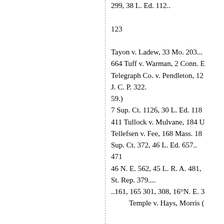299, 38 L. Ed. 112..
123
Tayon v. Ladew, 33 Mo. 203...
664 Tuff v. Warman, 2 Conn. D
Telegraph Co. v. Pendleton, 12
J. C. P. 322.
59.)
7 Sup. Ct. 1126, 30 L. Ed. 118
411 Tullock v. Mulvane, 184 U
Tellefsen v. Fee, 168 Mass. 18
Sup. Ct. 372, 46 L. Ed. 657..
471
46 N. E. 562, 45 L. R. A. 481,
St. Rep. 379....
..161, 165 301, 308, 16°N. E. 3
Temple v. Hays, Morris (
716